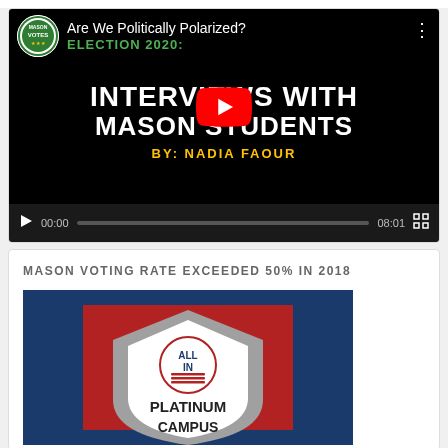[Figure (screenshot): YouTube video thumbnail: 'Are We Politically Polarized? Election 2020: Interviews with Mason Students by Nadia Faour' with Mason Votes badge, YouTube play button overlay, and video controls showing 00:00 / 08:01]
MASON VOTING RATE EXCEEDED 50% IN 2018
[Figure (logo): All In Campus Democracy Challenge Platinum Campus badge/logo with blue and red colors]